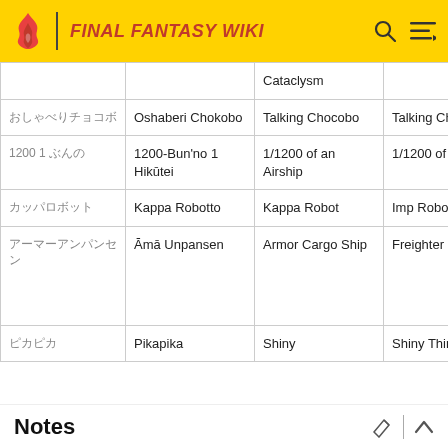FINAL FANTASY WIKI
| Japanese | Romaji | English | Alternate |
| --- | --- | --- | --- |
|  |  | Cataclysm |  |
| おしゃべりチョコボ | Oshaberi Chokobo | Talking Chocobo | Talking Chocobo |
| 1200 1 ぶんの | 1200-Bun'no 1 Hikūtei | 1/1200 of an Airship | 1/1200 of an airship |
| カッパロボット | Kappa Robotto | Kappa Robot | Imp Robot |
| アーマーアンパンセン | Āmā Unpansen | Armor Cargo Ship | Freighter |
| ピカピカ | Pikapika | Shiny | Shiny Thing |
Notes